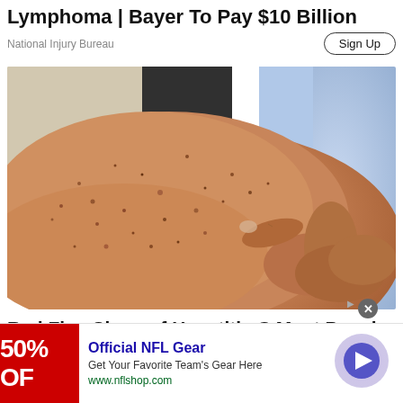Lymphoma | Bayer To Pay $10 Billion
National Injury Bureau
[Figure (photo): Close-up photo of an elderly person's arm with skin spots/lesions, with a hand pointing to a spot on the arm.]
Red Flag Signs of Hepatitis C Most People May Not Be Aware Of
[Figure (infographic): Advertisement banner: Official NFL Gear - Get Your Favorite Team's Gear Here - www.nflshop.com, with red background showing '50% OF' text, and a circular arrow button on the right.]